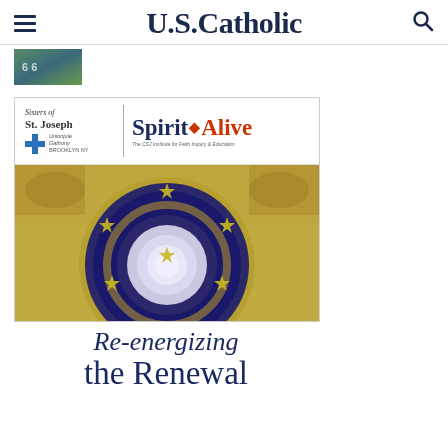U.S.Catholic
[Figure (photo): Small thumbnail image, appears to show a dark scene with some numbers or text visible]
[Figure (infographic): Advertisement for Sisters of St. Joseph - Spirit Alive. Features the organization logo with a blue cross, and the Spirit Alive title in blue and red with a flame icon. Below is a photo of an ornate cathedral dome ceiling viewed from below, showing a circular mosaic with gold stars on blue background and Latin text inscription, surrounded by elaborate painted sections.]
Re-energizing the Renewal